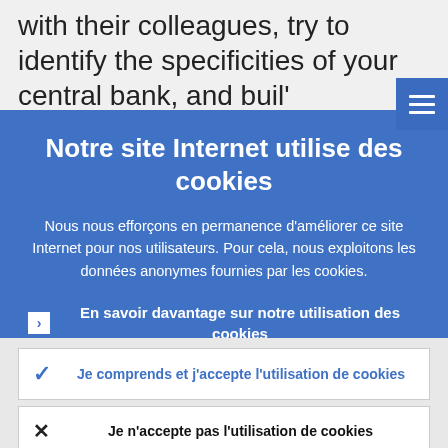with their colleagues, try to identify the specificities of your central bank, and buil’
Notre site Internet utilise des cookies
Nous nous efforçons en permanence d’améliorer ce site Internet pour nos utilisateurs. Pour cela, nous exploitons les données anonymes fournies par les cookies.
En savoir davantage sur notre utilisation des cookies
Je comprends et j’accepte l’utilisation de cookies
Je n’accepte pas l’utilisation de cookies